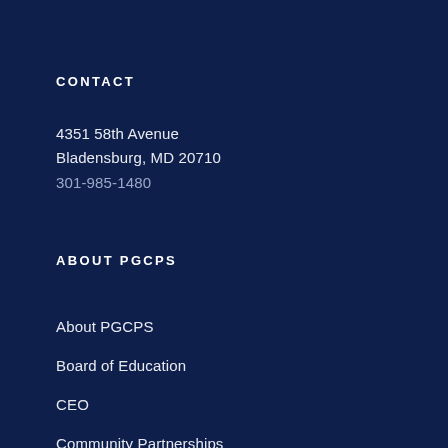CONTACT
4351 58th Avenue
Bladensburg, MD 20710
301-985-1480
ABOUT PGCPS
About PGCPS
Board of Education
CEO
Community Partnerships
Directories